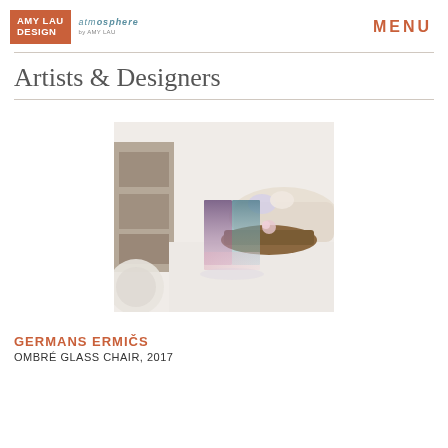AMY LAU DESIGN | atmosphere by Amy Lau | MENU
Artists & Designers
[Figure (photo): Interior design photo showing a colorful ombre glass chair with purple-to-blue gradient panels, positioned in front of a natural wood slab coffee table and cream curved sofa in a bright white room.]
GERMANS ERMIČS
OMBRÉ GLASS CHAIR, 2017